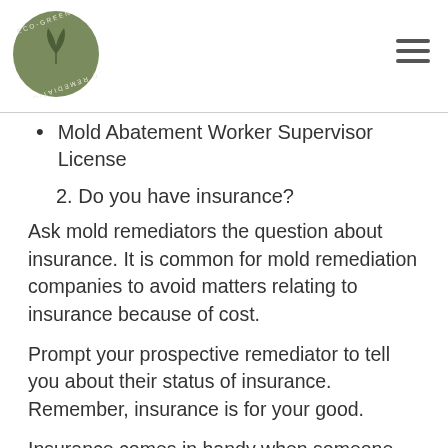Eco-Green Mold Remediations
Mold Abatement Worker Supervisor License
2. Do you have insurance?
Ask mold remediators the question about insurance. It is common for mold remediation companies to avoid matters relating to insurance because of cost.
Prompt your prospective remediator to tell you about their status of insurance. Remember, insurance is for your good.
Insurance comes in handy when someone